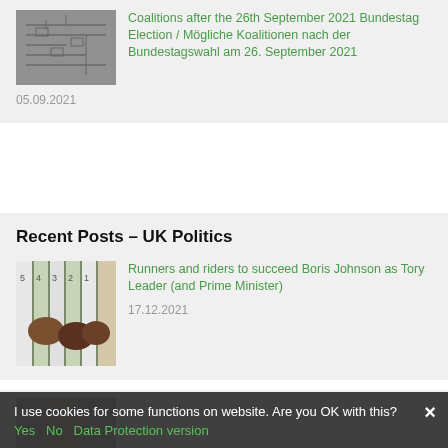[Figure (screenshot): Thumbnail image of circuit/schematic diagram in grey tones]
Coalitions after the 26th September 2021 Bundestag Election / Mögliche Koalitionen nach der Bundestagswahl am 26. September 2021
05.09.2021
Recent Posts – UK Politics
[Figure (photo): Horse racing starting gate with horses and riders, numbered stalls visible]
Runners and riders to succeed Boris Johnson as Tory Leader (and Prime Minister)
17.12.2021
[Figure (photo): Partially visible thumbnail at bottom of page]
I use cookies for some functions on website. Are you OK with this?
Yes   No   Data Protection version